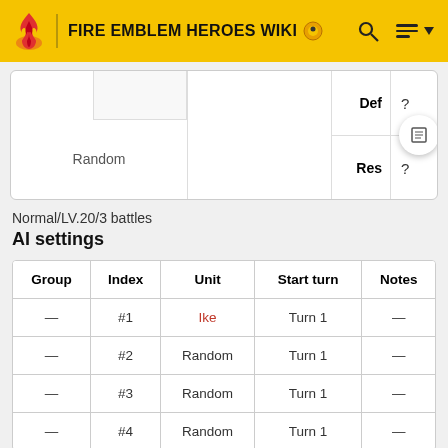FIRE EMBLEM HEROES WIKI
Def ?
Res ?
Random
Normal/LV.20/3 battles
AI settings
| Group | Index | Unit | Start turn | Notes |
| --- | --- | --- | --- | --- |
| — | #1 | Ike | Turn 1 | — |
| — | #2 | Random | Turn 1 | — |
| — | #3 | Random | Turn 1 | — |
| — | #4 | Random | Turn 1 | — |